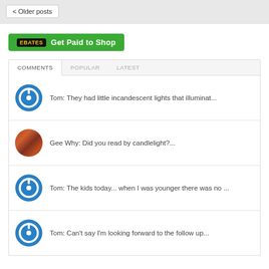< Older posts
[Figure (other): Ebates 'Get Paid to Shop' green advertisement banner]
COMMENTS   POPULAR   LATEST
Tom: They had little incandescent lights that illuminat...
Gee Why: Did you read by candlelight?...
Tom: The kids today... when I was younger there was no ...
Tom: Can't say I'm looking forward to the follow up...